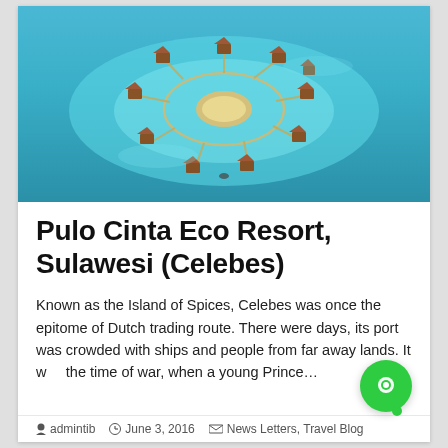[Figure (photo): Aerial view of Pulo Cinta Eco Resort showing overwater bungalows arranged in a circular/flower pattern around a small sandy island, surrounded by turquoise shallow reef water.]
Pulo Cinta Eco Resort, Sulawesi (Celebes)
Known as the Island of Spices, Celebes was once the epitome of Dutch trading route. There were days, its port was crowded with ships and people from far away lands. It was the time of war, when a young Prince…
admintib   June 3, 2016   News Letters, Travel Blog